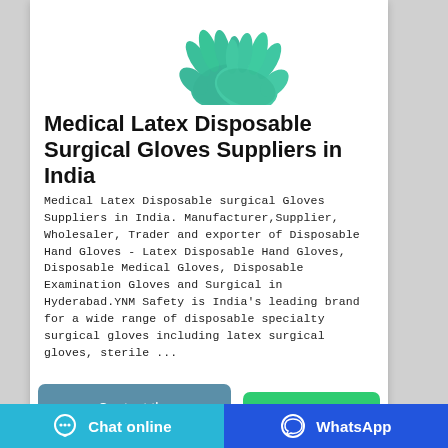[Figure (photo): Two teal/green medical latex surgical gloves crossed over each other, photographed against a white background.]
Medical Latex Disposable Surgical Gloves Suppliers in India
Medical Latex Disposable surgical Gloves Suppliers in India. Manufacturer,Supplier, Wholesaler, Trader and exporter of Disposable Hand Gloves - Latex Disposable Hand Gloves, Disposable Medical Gloves, Disposable Examination Gloves and Surgical in Hyderabad.YNM Safety is India's leading brand for a wide range of disposable specialty surgical gloves including latex surgical gloves, sterile ...
Contact the manufacturer
WhatsApp
Chat online   WhatsApp